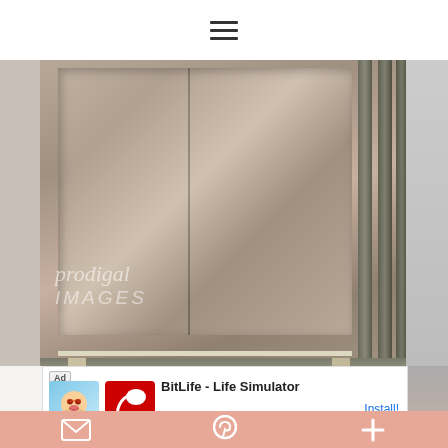≡
[Figure (photo): Metal flat steel plates or panels with channel/bar strips along the right edge and bottom, photographed on a concrete floor. A watermark reading 'prodigal IMAGES' is overlaid on the photo.]
[Figure (infographic): Advertisement banner for BitLife - Life Simulator app featuring Ad label, mascot cartoon character, red BitLife logo, app name text, and Install! button link.]
✉  𝐏  +